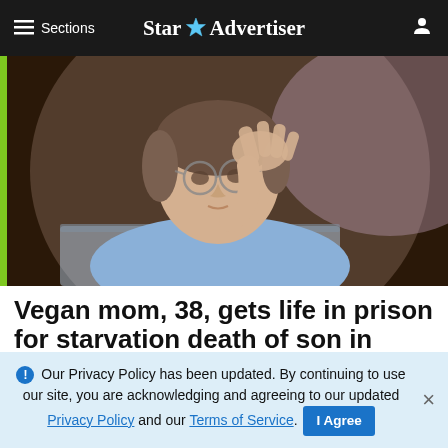≡ Sections   Star Advertiser
[Figure (photo): A woman with glasses, wearing a light blue shirt, resting her hand on her forehead in a stressed or contemplative pose, seated in what appears to be a courtroom.]
Vegan mom, 38, gets life in prison for starvation death of son in Florida
FORT MYERS, Fla. >> A vegan woman convicted of murder in the malnutrition death of her young son w...
ℹ Our Privacy Policy has been updated. By continuing to use our site, you are acknowledging and agreeing to our updated Privacy Policy and our Terms of Service. I Agree